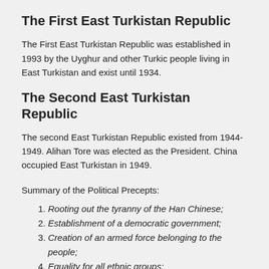The First East Turkistan Republic
The First East Turkistan Republic was established in 1993 by the Uyghur and other Turkic people living in East Turkistan and exist until 1934.
The Second East Turkistan Republic
The second East Turkistan Republic existed from 1944-1949. Alihan Tore was elected as the President. China occupied East Turkistan in 1949.
Summary of the Political Precepts:
Rooting out the tyranny of the Han Chinese;
Establishment of a democratic government;
Creation of an armed force belonging to the people;
Equality for all ethnic groups;
Granted the right to freedom of religion;
Popular elections of government officials at all levels;
Developing political and economic relations with friendly